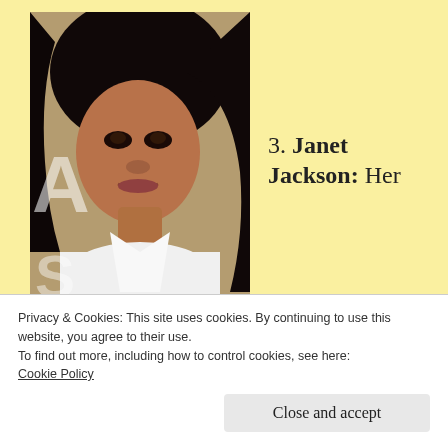[Figure (photo): Portrait photo of Janet Jackson in a white halter top, letters 'A' and 'S' partially visible on left edge]
3. Janet Jackson: Her
again? Didn't we already have her on the ballot a year ago? And the year before that? Anyway,
Privacy & Cookies: This site uses cookies. By continuing to use this website, you agree to their use.
To find out more, including how to control cookies, see here:
Cookie Policy
Close and accept